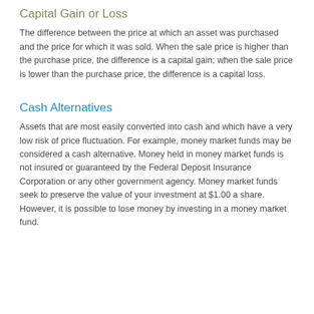Capital Gain or Loss
The difference between the price at which an asset was purchased and the price for which it was sold. When the sale price is higher than the purchase price, the difference is a capital gain; when the sale price is lower than the purchase price, the difference is a capital loss.
Cash Alternatives
Assets that are most easily converted into cash and which have a very low risk of price fluctuation. For example, money market funds may be considered a cash alternative. Money held in money market funds is not insured or guaranteed by the Federal Deposit Insurance Corporation or any other government agency. Money market funds seek to preserve the value of your investment at $1.00 a share. However, it is possible to lose money by investing in a money market fund.